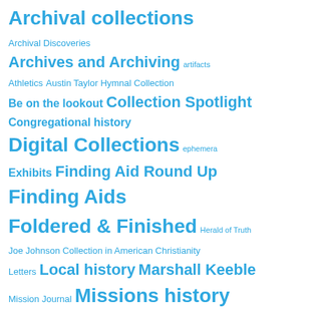Archival collections
Archival Discoveries
Archives and Archiving
artifacts
Athletics
Austin Taylor Hymnal Collection
Be on the lookout
Collection Spotlight
Congregational history
Digital Collections
ephemera
Exhibits
Finding Aid Round Up
Finding Aids
Foldered & Finished
Herald of Truth
Joe Johnson Collection in American Christianity
Letters
Local history
Marshall Keeble
Mission Journal
Missions history